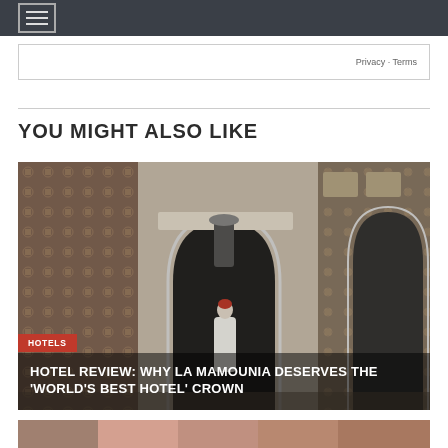Navigation menu header bar
Privacy · Terms
YOU MIGHT ALSO LIKE
[Figure (photo): Moroccan building entrance with ornate tilework and arches; a person in white robes and red fez hat stands at the door. Overlay labels: HOTELS category tag and article title.]
HOTEL REVIEW: WHY LA MAMOUNIA DESERVES THE 'WORLD'S BEST HOTEL' CROWN
[Figure (photo): Partial view of another article image at the bottom of the page, cropped.]